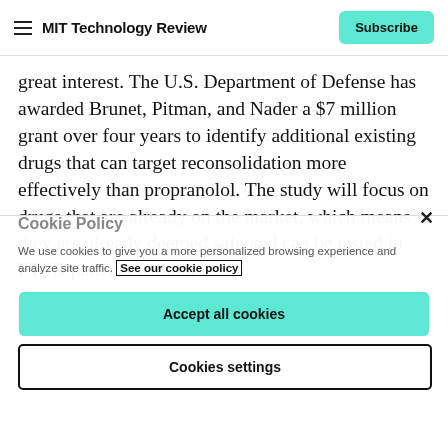MIT Technology Review | Subscribe
great interest. The U.S. Department of Defense has awarded Brunet, Pitman, and Nader a $7 million grant over four years to identify additional existing drugs that can target reconsolidation more effectively than propranolol. The study will focus on drugs that are already on the market, which means they are already deemed safe and can be tested in PTSD patients without
Cookie Policy
We use cookies to give you a more personalized browsing experience and analyze site traffic. See our cookie policy
Accept all cookies
Cookies settings